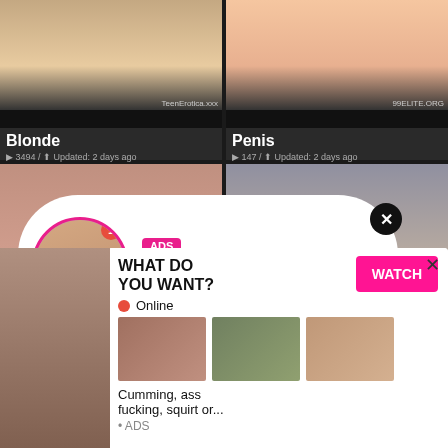[Figure (screenshot): Adult content website screenshot showing video category thumbnails with overlaid advertisements. Top row: 'Blonde' category (3494 videos, updated 2 days ago) and 'Penis' category (147 videos, updated 2 days ago). Middle row partial: 'Sch...' category. Two ad overlays visible: a notification bubble for 'Jeniffer 2000' marked LIVE with ADS tag showing (00:12), and a bottom panel ad asking 'WHAT DO YOU WANT?' with WATCH button, Online indicator, thumbnail images, and text 'Cumming, ass fucking, squirt or... ADS'.]